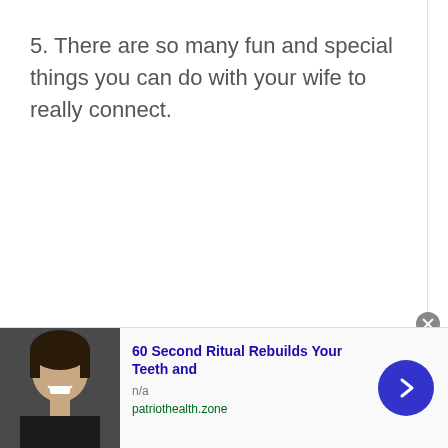5. There are so many fun and special things you can do with your wife to really connect.
[Figure (other): Advertisement banner with a photo of a smiling woman, ad headline '60 Second Ritual Rebuilds Your Teeth and', source label 'n/a', domain 'patriothealth.zone', close button, and a blue arrow button]